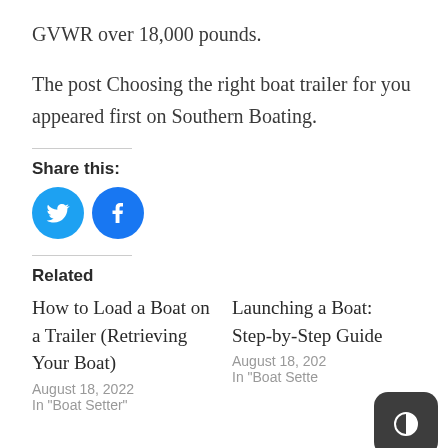GVWR over 18,000 pounds.
The post Choosing the right boat trailer for you appeared first on Southern Boating.
Share this:
[Figure (other): Twitter and Facebook social share buttons as blue circles with white icons]
Related
How to Load a Boat on a Trailer (Retrieving Your Boat)
August 18, 2022
In "Boat Setter"
Launching a Boat: Step-by-Step Guide
August 18, 202
In "Boat Sette"